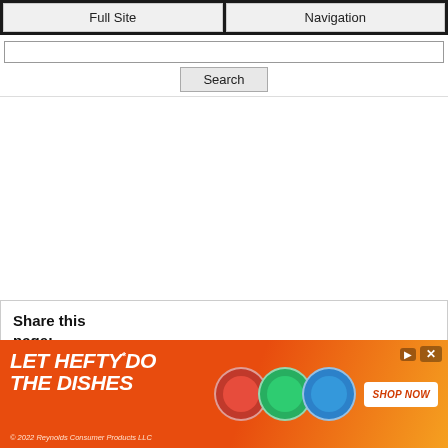Full Site | Navigation
Search
Share this page:
Facebook
this?
[Figure (screenshot): Advertisement banner for Hefty dishwashing products with orange background. Text reads: LET HEFTY DO THE DISHES. © 2022 Reynolds Consumer Products LLC. Includes SHOP NOW button.]